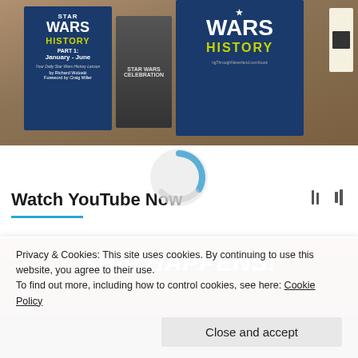[Figure (photo): Photo of Star Wars History books and related materials on a wooden table surface. Includes book covers with 'STAR WARS HISTORY PART 1: January - June' and 'WARS HISTORY' titles.]
[Figure (logo): Circular logo/spinner graphic in light blue and gray]
Watch YouTube Now
[Figure (photo): Photo showing graffiti-style text reading 'SHIP HAPPENS!' with people and equipment in background]
Privacy & Cookies: This site uses cookies. By continuing to use this website, you agree to their use.
To find out more, including how to control cookies, see here: Cookie Policy
Close and accept